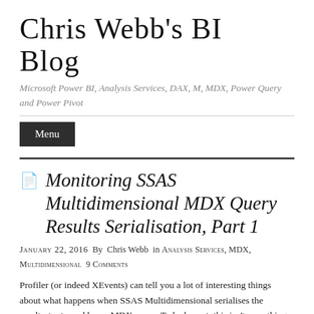Chris Webb's BI Blog
Microsoft Power BI, Analysis Services, DAX, M, MDX, Power Query and Power Pivot
Monitoring SSAS Multidimensional MDX Query Results Serialisation, Part 1
January 22, 2016  By  Chris Webb  in  Analysis Services, MDX, Multidimensional  9 Comments
Profiler (or indeed XEvents) can tell you a lot of interesting things about what happens when SSAS Multidimensional serialises the resultset returned by an MDX query. To be honest, this isn't something I've